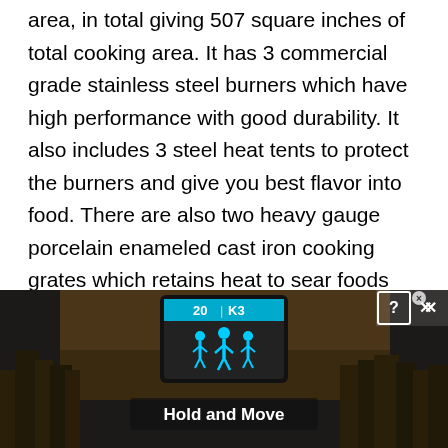area, in total giving 507 square inches of total cooking area. It has 3 commercial grade stainless steel burners which have high performance with good durability. It also includes 3 steel heat tents to protect the burners and give you best flavor into food. There are also two heavy gauge porcelain enameled cast iron cooking grates which retains heat to sear foods and lock in food's natural juices. There are infinite control valve options providing flexibility and best grilling performance and better cooking experience. There are also side shelves with towel bars and
[Figure (screenshot): Advertisement banner showing a dark outdoor scene with trees, a device/tablet displaying a game interface with score counters (20, K3) and blue icons, and the text 'Hold and Move' in white bold text. Close (X) and help (?) buttons appear in the top right corner.]